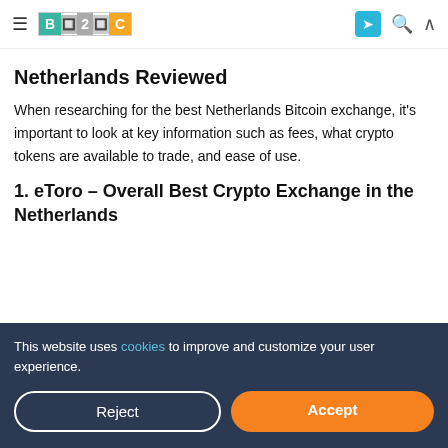B2C — navigation bar with logo, telegram icon, search, and collapse icons
Netherlands Reviewed
When researching for the best Netherlands Bitcoin exchange, it's important to look at key information such as fees, what crypto tokens are available to trade, and ease of use.
1. eToro – Overall Best Crypto Exchange in the Netherlands
This website uses cookies to improve and customize your user experience. [Reject] [Accept]